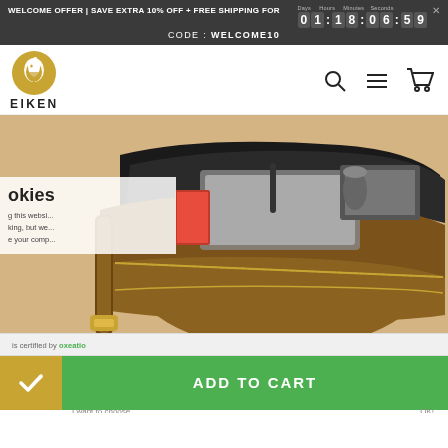WELCOME OFFER | SAVE EXTRA 10% OFF + FREE SHIPPING FOR 01:18:06:59
CODE : WELCOME10
[Figure (logo): Eiken brand logo with horse head icon and EIKEN text]
[Figure (photo): Open leather messenger bag with multiple compartments containing laptops, books, and accessories]
okies
g this websi...
king, but we...
e your comp...
is certified by oxeatio
ADD TO CART
I want to choose